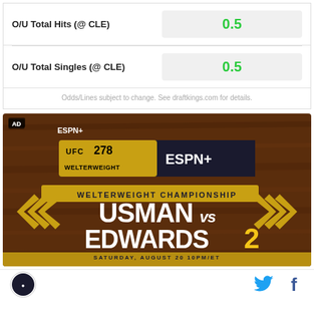|  | Value |
| --- | --- |
| O/U Total Hits (@ CLE) | 0.5 |
| O/U Total Singles (@ CLE) | 0.5 |
Odds/Lines subject to change. See draftkings.com for details.
[Figure (photo): UFC 278 ESPN+ advertisement banner: Welterweight Championship USMAN VS EDWARDS 2, Saturday, August 20 10PM/ET]
Social share icons: Twitter and Facebook